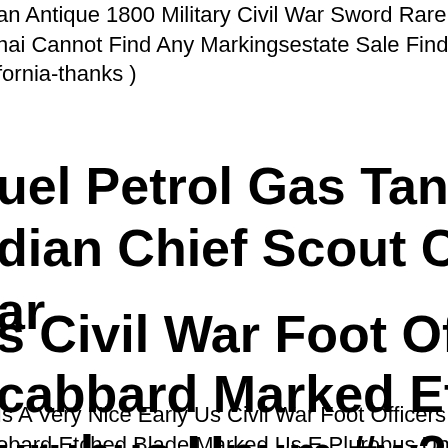an Antique 1800 Military Civil War Sword Rare 36 Long Orge nai Cannot Find Any Markingsestate Sale Find In Southern fornia-thanks )
uel Petrol Gas Tank Set+cap Fit Fo dian Chief Scout Civil Military Post ar
s Civil War Foot Officers Sword W cabbard Marked Etched Us E urubus Unum #w27
Is A Very Nice Early Us Civil War Foot Officers Sword With obard Etched Blade Marked Us E Plurobus Unum German Impo